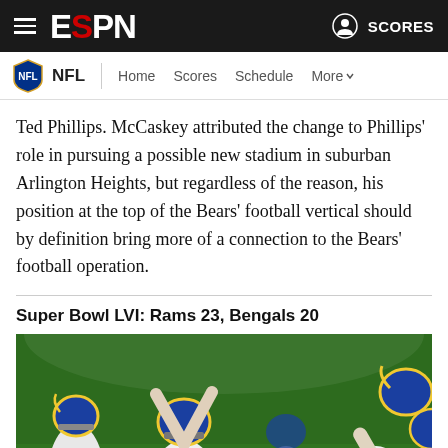ESPN — NFL | Home Scores Schedule More
Ted Phillips. McCaskey attributed the change to Phillips' role in pursuing a possible new stadium in suburban Arlington Heights, but regardless of the reason, his position at the top of the Bears' football vertical should by definition bring more of a connection to the Bears' football operation.
Super Bowl LVI: Rams 23, Bengals 20
[Figure (photo): Los Angeles Rams players celebrating after winning Super Bowl LVI. Players wearing blue and gold helmets and white jerseys are shown celebrating on the field, with one player raising his helmet in triumph.]